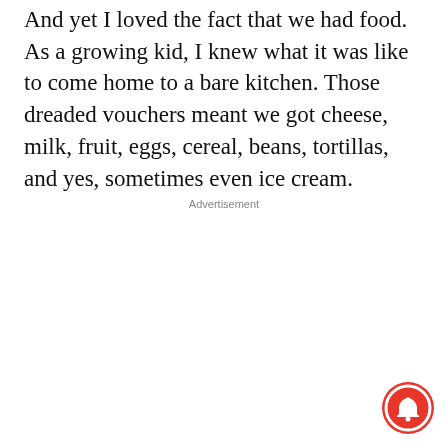And yet I loved the fact that we had food. As a growing kid, I knew what it was like to come home to a bare kitchen. Those dreaded vouchers meant we got cheese, milk, fruit, eggs, cereal, beans, tortillas, and yes, sometimes even ice cream.
Advertisement
[Figure (illustration): Red circular notification bell button icon in the bottom-right corner]